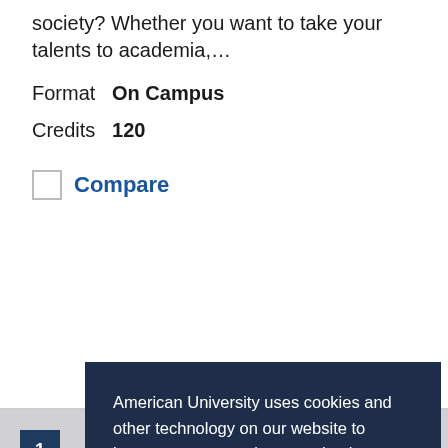society? Whether you want to take your talents to academia,...
Format  On Campus
Credits  120
Compare
American University uses cookies and other technology on our website to improve your experience and to better understand how you use our websites. I agree to American University's use of cookies. Learn more
Agree
1